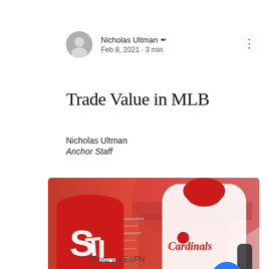Nicholas Ultman · Feb 8, 2021 · 3 min
Trade Value in MLB
Nicholas Ultman
Anchor Staff
[Figure (photo): St. Louis Cardinals promotional image showing a player in Cardinals uniform holding a bat, with the Cardinals STL logo on the left and a red stadium background]
Photo via ESPN